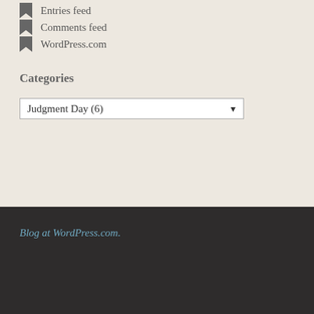Entries feed
Comments feed
WordPress.com
Categories
Judgment Day (6)
Blog at WordPress.com.